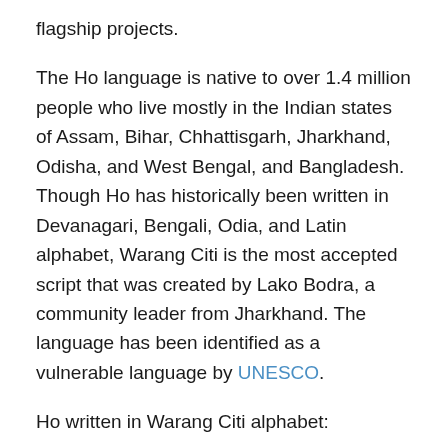flagship projects.
The Ho language is native to over 1.4 million people who live mostly in the Indian states of Assam, Bihar, Chhattisgarh, Jharkhand, Odisha, and West Bengal, and Bangladesh. Though Ho has historically been written in Devanagari, Bengali, Odia, and Latin alphabet, Warang Citi is the most accepted script that was created by Lako Bodra, a community leader from Jharkhand. The language has been identified as a vulnerable language by UNESCO.
Ho written in Warang Citi alphabet:
There is currently an active Wikipedia Incubator project where Ho speakers can create and edit Wikipedia articles. The Ho Wikipedia is yet to go live but with more contributors joining here and